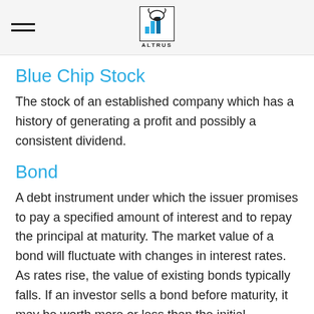ALTRUS
Blue Chip Stock
The stock of an established company which has a history of generating a profit and possibly a consistent dividend.
Bond
A debt instrument under which the issuer promises to pay a specified amount of interest and to repay the principal at maturity. The market value of a bond will fluctuate with changes in interest rates. As rates rise, the value of existing bonds typically falls. If an investor sells a bond before maturity, it may be worth more or less than the initial purchase price.